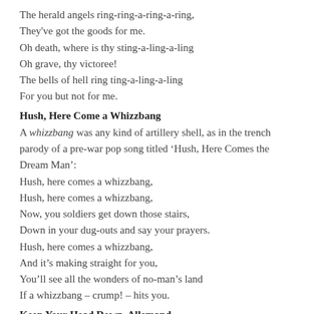The herald angels ring-ring-a-ring-a-ring,
They've got the goods for me.
Oh death, where is thy sting-a-ling-a-ling
Oh grave, thy victoree!
The bells of hell ring ting-a-ling-a-ling
For you but not for me.
Hush, Here Come a Whizzbang
A whizzbang was any kind of artillery shell, as in the trench parody of a pre-war pop song titled ‘Hush, Here Comes the Dream Man’:
Hush, here comes a whizzbang,
Hush, here comes a whizzbang,
Now, you soldiers get down those stairs,
Down in your dug-outs and say your prayers.
Hush, here comes a whizzbang,
And it’s making straight for you,
You’ll see all the wonders of no-man’s land
If a whizzbang – crump! – hits you.
Keep Your Head Down, Allemand
One of the popular trench ditties of the war, referring to the enemy as Alleymand (Allemand) from the French for German, described what each side did when the other was erecting barbed wire defences:
Keep your head down, Alleymand,